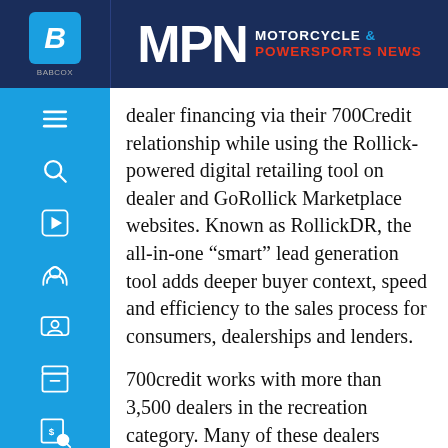MPN MOTORCYCLE & POWERSPORTS NEWS
dealer financing via their 700Credit relationship while using the Rollick-powered digital retailing tool on dealer and GoRollick Marketplace websites. Known as RollickDR, the all-in-one “smart” lead generation tool adds deeper buyer context, speed and efficiency to the sales process for consumers, dealerships and lenders.
700credit works with more than 3,500 dealers in the recreation category. Many of these dealers overlap with Rollick’s network and have been asking for this integration since Rollick launched RollickDR last summer. Prequalified customers through RollickDR have proven to close 230% higher than a standard “Get a Quote” lead. Accordingly, Rollick seeks to make its tool